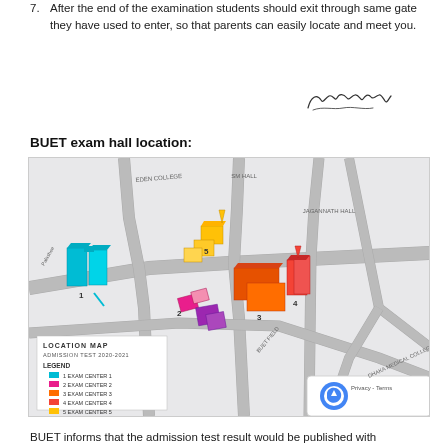7. After the end of the examination students should exit through same gate they have used to enter, so that parents can easily locate and meet you.
[Figure (other): Handwritten signature]
BUET exam hall location:
[Figure (map): BUET campus location map for Admission Test 2020-2021 showing 5 exam centers with color-coded legend. Exam Center 1 (cyan/teal), Exam Center 2 (pink/magenta), Exam Center 3 (orange), Exam Center 4 (red), Exam Center 5 (yellow). Map includes buildings, roads, and nearby landmarks like Eden College, SM Hall, Jagannath Hall, Dhaka Medical College.]
BUET informs that the admission test result would be published with